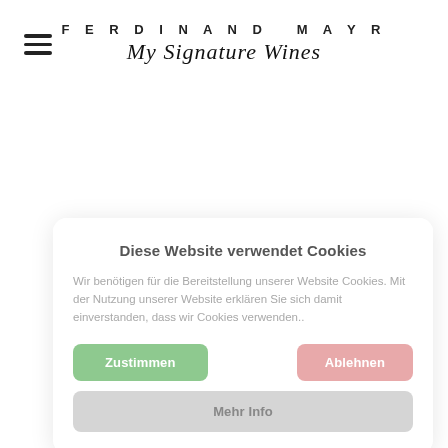[Figure (logo): Ferdinand Mayr My Signature Wines logo with hamburger menu icon on the left]
Diese Website verwendet Cookies
Wir benötigen für die Bereitstellung unserer Website Cookies. Mit der Nutzung unserer Website erklären Sie sich damit einverstanden, dass wir Cookies verwenden..
Zustimmen
Ablehnen
Mehr Info